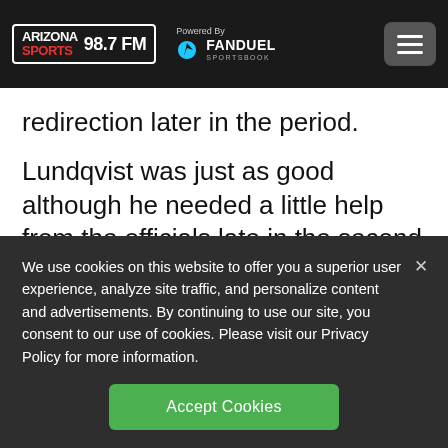Arizona Sports 98.7 FM — Powered By FanDuel Sportsbook
redirection later in the period.
Lundqvist was just as good although he needed a little help from the officials late in the second period to keep the game scoreless.
We use cookies on this website to offer you a superior user experience, analyze site traffic, and personalize content and advertisements. By continuing to use our site, you consent to our use of cookies. Please visit our Privacy Policy for more information.
Accept Cookies